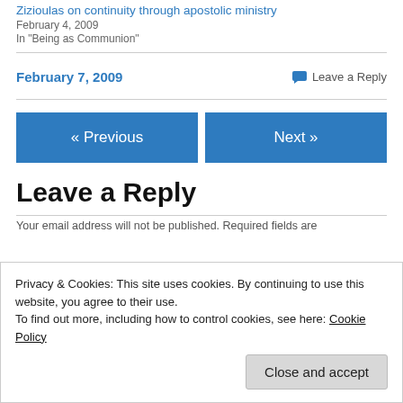Zizioulas on continuity through apostolic ministry
February 4, 2009
In "Being as Communion"
February 7, 2009
Leave a Reply
« Previous
Next »
Leave a Reply
Privacy & Cookies: This site uses cookies. By continuing to use this website, you agree to their use.
To find out more, including how to control cookies, see here: Cookie Policy
Close and accept